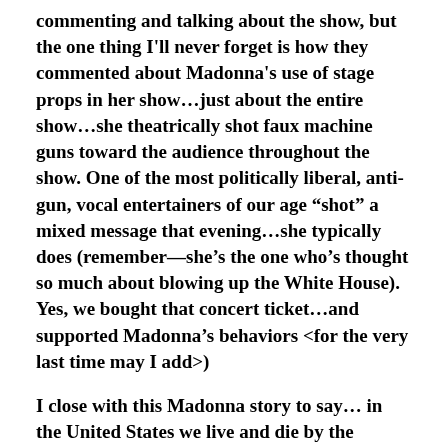commenting and talking about the show, but the one thing I'll never forget is how they commented about Madonna's use of stage props in her show...just about the entire show...she theatrically shot faux machine guns toward the audience throughout the show. One of the most politically liberal, anti-gun, vocal entertainers of our age “shot” a mixed message that evening...she typically does (remember—she’s the one who’s thought so much about blowing up the White House). Yes, we bought that concert ticket...and supported Madonna’s behaviors <for the very last time may I add>)
I close with this Madonna story to say... in the United States we live and die by the market economic forces we drive by consumer decisions (even those that transpire in the black market).